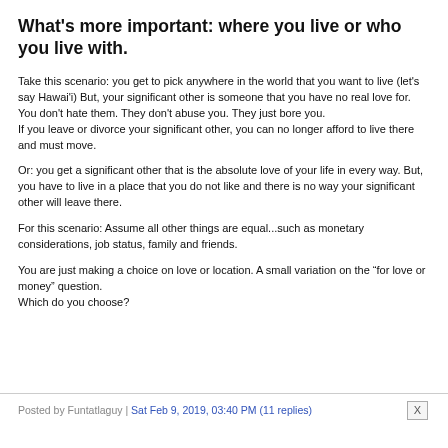What's more important: where you live or who you live with.
Take this scenario: you get to pick anywhere in the world that you want to live (let's say Hawai'i) But, your significant other is someone that you have no real love for.
You don't hate them. They don't abuse you. They just bore you.
If you leave or divorce your significant other, you can no longer afford to live there and must move.
Or: you get a significant other that is the absolute love of your life in every way. But, you have to live in a place that you do not like and there is no way your significant other will leave there.
For this scenario: Assume all other things are equal...such as monetary considerations, job status, family and friends.
You are just making a choice on love or location. A small variation on the “for love or money” question.
Which do you choose?
Posted by Funtatlaguy | Sat Feb 9, 2019, 03:40 PM (11 replies)